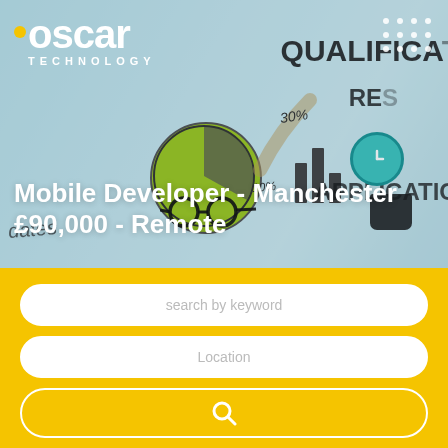[Figure (screenshot): Oscar Technology recruitment website screenshot showing a hero banner with whiteboard background image featuring handwritten words QUALIFICATIONS, RESULTS, APPLICATION, pie chart, and other business graphics. Logo in top left reads 'oscar TECHNOLOGY' with a yellow dot. A grid of white dots appears top right. Job listing title reads 'Mobile Developer - Manchester £90,000 - Remote'. Below the hero is a yellow search section with two text input fields ('search by keyword', 'Location') and a search button with magnifying glass icon.]
Mobile Developer - Manchester £90,000 - Remote
search by keyword
Location